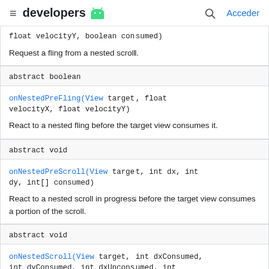developers [android logo] | [search] Acceder
| float velocityY, boolean consumed) | Request a fling from a nested scroll. |
| abstract boolean | onNestedPreFling(View target, float velocityX, float velocityY) | React to a nested fling before the target view consumes it. |
| abstract void | onNestedPreScroll(View target, int dx, int dy, int[] consumed) | React to a nested scroll in progress before the target view consumes a portion of the scroll. |
| abstract void | onNestedScroll(View target, int dxConsumed, int dyConsumed, int dxUnconsumed, int ... |